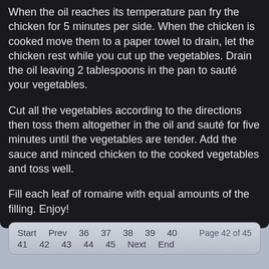When the oil reaches its temperature pan fry the chicken for 5 minutes per side. When the chicken is cooked move them to a paper towel to drain, let the chicken rest while you cut up the vegetables. Drain the oil leaving 2 tablespoons in the pan to sauté your vegetables.
Cut all the vegetables according to the directions then toss them altogether in the oil and sauté for five minutes until the vegetables are tender. Add the sauce and minced chicken to the cooked vegetables and toss well.
Fill each leaf of romaine with equal amounts of the filling. Enjoy!
Start  Prev  36  37  38  39  40  Page 42 of 45
41  42  43  44  45  Next  End
You are here: Home